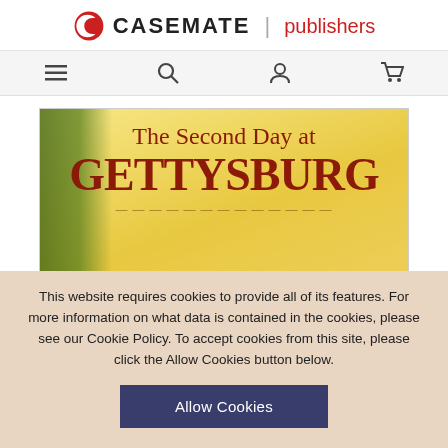CASEMATE | publishers
[Figure (screenshot): Navigation bar with menu (hamburger), search, user account, and shopping cart icons on a light grey background]
Home > The Second Day at Gettysburg
[Figure (illustration): Book cover for 'The Second Day at Gettysburg' showing title text in red-brown serif font on a yellow/gold background with a tree silhouette on the left]
This website requires cookies to provide all of its features. For more information on what data is contained in the cookies, please see our Cookie Policy. To accept cookies from this site, please click the Allow Cookies button below.